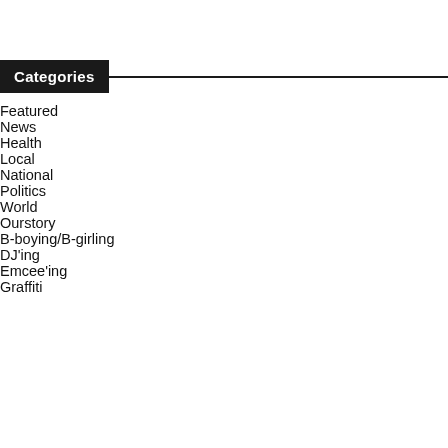Categories
Featured
News
Health
Local
National
Politics
World
Ourstory
B-boying/B-girling
DJ'ing
Emcee'ing
Graffiti